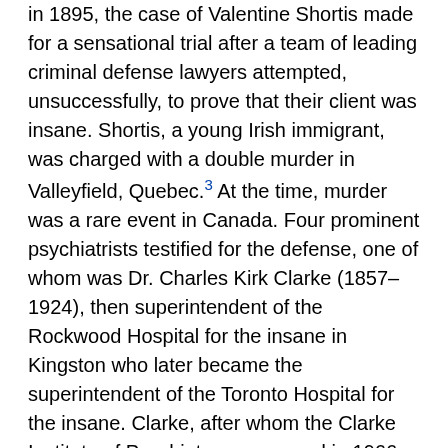in 1895, the case of Valentine Shortis made for a sensational trial after a team of leading criminal defense lawyers attempted, unsuccessfully, to prove that their client was insane. Shortis, a young Irish immigrant, was charged with a double murder in Valleyfield, Quebec.³ At the time, murder was a rare event in Canada. Four prominent psychiatrists testified for the defense, one of whom was Dr. Charles Kirk Clarke (1857–1924), then superintendent of the Rockwood Hospital for the insane in Kingston who later became the superintendent of the Toronto Hospital for the insane. Clarke, after whom the Clarke Institute of Psychiatry was named in 1966, was the first professor of psychiatry in the Department of Psychiatry at the University of Toronto when it was founded in 1908, and dean of the faculty of medicine in Toronto (1908–1920).⁴
The 1960s marked the beginning of the modern era of forensic psychiatry in Canada with the establishment of the first academic chair in forensic psychiatry. As it happened, Dr. Kenneth George Gray (1905–1970), who joined the Department of Psychiatry of the